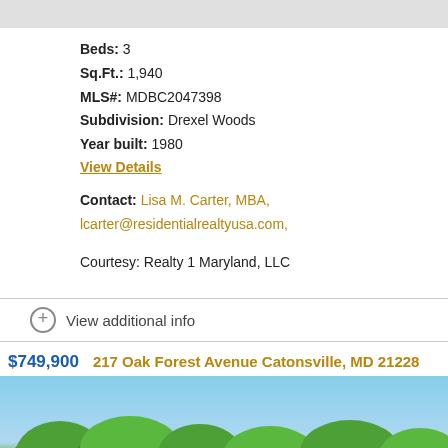Beds: 3
Sq.Ft.: 1,940
MLS#: MDBC2047398
Subdivision: Drexel Woods
Year built: 1980
View Details
Contact: Lisa M. Carter, MBA, lcarter@residentialrealtyusa.com,
Courtesy: Realty 1 Maryland, LLC
View additional info
$749,900  217 Oak Forest Avenue Catonsville, MD 21228
[Figure (photo): Exterior photo of property with trees against a blue sky]